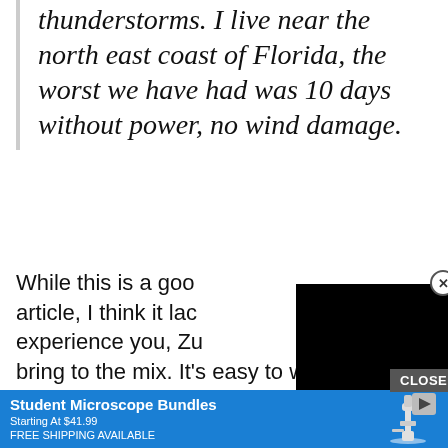thunderstorms. I live near the north east coast of Florida, the worst we have had was 10 days without power, no wind damage.
While this is a good article, I think it lac experience you, Zu bring to the mix. It's easy to watch from afar, or even have lots of rain up here in the aftermath; but, li
[Figure (other): Black video player overlay covering part of the main text]
[Figure (other): Close button circle with X symbol at top right of video overlay]
CLOSE
[Figure (other): Blue advertisement banner for Student Microscope Bundles starting at $41.99 with free shipping available, showing microscope image and play button]